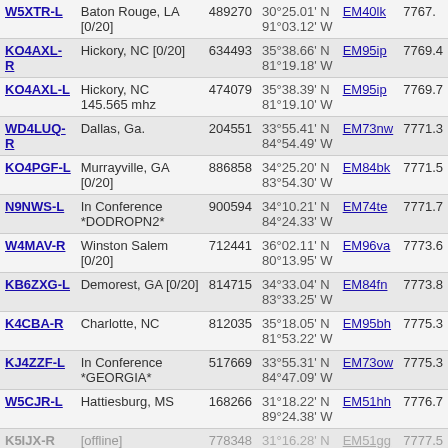| Callsign | Location | ID | Coordinates | Grid | Freq |
| --- | --- | --- | --- | --- | --- |
| W5XTR-L | Baton Rouge, LA [0/20] | 489270 | 30°25.01' N 91°03.12' W | EM40lk | 7767. |
| KO4AXL-R | Hickory, NC [0/20] | 634493 | 35°38.66' N 81°19.18' W | EM95ip | 7769.4 |
| KO4AXL-L | Hickory, NC 145.565 mhz | 474079 | 35°38.39' N 81°19.10' W | EM95ip | 7769.7 |
| WD4LUQ-R | Dallas, Ga. | 204551 | 33°55.41' N 84°54.49' W | EM73nw | 7771.3 |
| KO4PGF-L | Murrayville, GA [0/20] | 886858 | 34°25.20' N 83°54.30' W | EM84bk | 7771.5 |
| N9NWS-L | In Conference *DODROPN2* | 900594 | 34°10.21' N 84°24.33' W | EM74te | 7771.7 |
| W4MAV-R | Winston Salem [0/20] | 712441 | 36°02.11' N 80°13.95' W | EM96va | 7773.6 |
| KB6ZXG-L | Demorest, GA [0/20] | 814715 | 34°33.04' N 83°33.25' W | EM84fn | 7773.8 |
| K4CBA-R | Charlotte, NC | 812035 | 35°18.05' N 81°53.22' W | EM95bh | 7775.3 |
| KJ4ZZF-L | In Conference *GEORGIA* | 517669 | 33°55.31' N 84°47.09' W | EM73ow | 7775.3 |
| W5CJR-L | Hattiesburg, MS | 168266 | 31°18.22' N 89°24.38' W | EM51hh | 7776.7 |
| K5IJX-R | [offline] | 778348 | 31°16.28' N 89°26.18' W | EM51gg | 7777.5 |
| KB4ZIN-R | Williamsburg, VA [0/10] | 675740 | 37°16.90' N 76°47.79' W | FM17og | 7777.5 |
| WX4PG-R | Pickens, SC [0/8] | 4031 | 34°53.00' N | EM84py | 7777.8 |